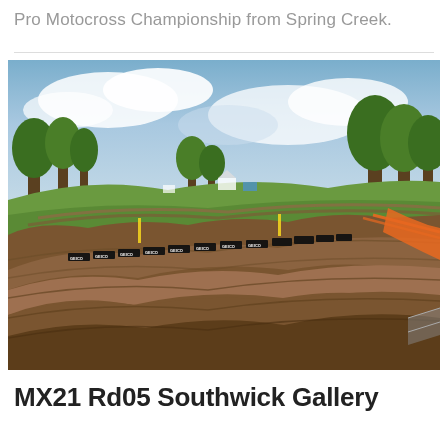Pro Motocross Championship from Spring Creek.
[Figure (photo): Panoramic aerial-style photo of a motocross track at Spring Creek, showing wavy dirt berms and ruts in the foreground, GEICO sponsor banners along the track edge, green trees and a cloudy blue sky in the background, with spectators and race infrastructure visible in the distance.]
MX21 Rd05 Southwick Gallery